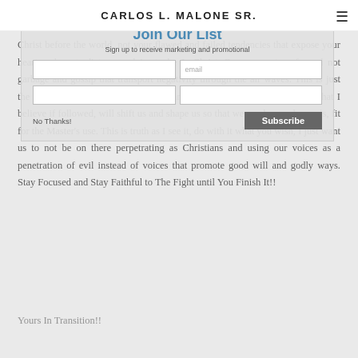CARLOS L. MALONE SR.
Christ before the world, not your flawed and failed tendencies that expose your heart and contradict your claim to be In-Christ. Be a promoter of good not garbage and gossip that transport negativity through the air waves. This is just the beginning of a series of thoughts and inspirations that I'll be sharing that I believe if followed, will shift us and shape us so that we can be good vessels, fit for the Master's use. This is truth as I see it, do with it what you wish, I just want us to not be on there perpetrating as Christians and using our voices as a penetration of evil instead of voices that promote good will and godly ways. Stay Focused and Stay Faithful to The Fight until You Finish It!!
Yours In Transition!!